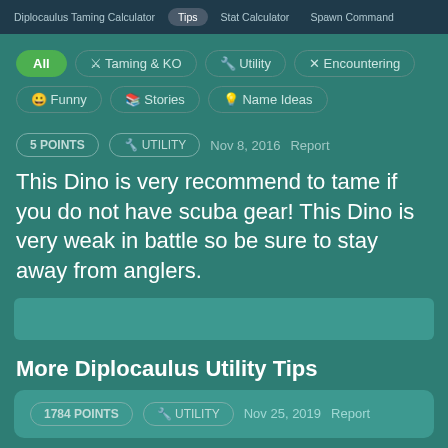Diplocaulus Taming Calculator  Tips  Stat Calculator  Spawn Command
All
⚔ Taming & KO
🔧 Utility
✕ Encountering
😊 Funny
📖 Stories
💡 Name Ideas
5 POINTS   🔧 UTILITY   Nov 8, 2016   Report
This Dino is very recommend to tame if you do not have scuba gear! This Dino is very weak in battle so be sure to stay away from anglers.
More Diplocaulus Utility Tips
1784 POINTS   🔧 UTILITY   Nov 25, 2019   Report